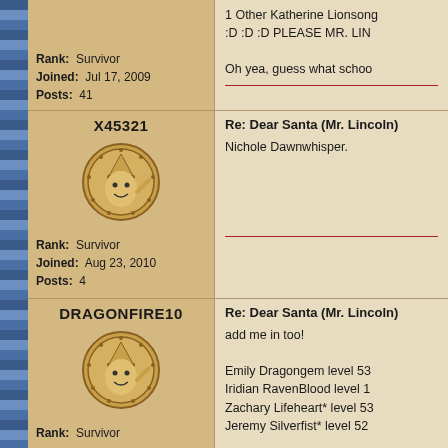Rank: Survivor
Joined: Jul 17, 2009
Posts: 41
1 Other Katherine Lionsong :D :D :D PLEASE MR. LIN Oh yea, guess what schoo
X45321
[Figure (illustration): Forum avatar - cartoon character in a coin medallion]
Rank: Survivor
Joined: Aug 23, 2010
Posts: 4
Re: Dear Santa (Mr. Lincoln)
Nichole Dawnwhisper.
DRAGONFIRE10
[Figure (illustration): Forum avatar - cartoon character in a coin medallion]
Rank: Survivor
Re: Dear Santa (Mr. Lincoln)
add me in too!

Emily Dragongem level 53
Iridian RavenBlood level 1
Zachary Lifeheart* level 53
Jeremy Silverfist* level 52